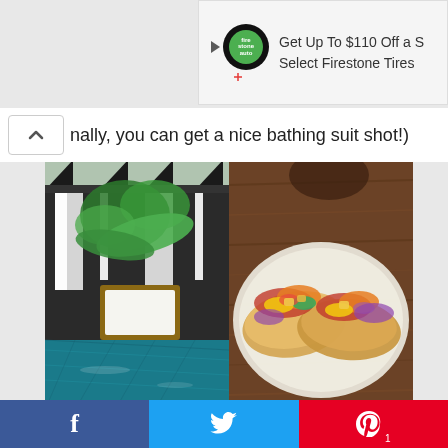[Figure (screenshot): Advertisement banner: Firestone auto logo with text 'Get Up To $110 Off a S... Select Firestone Tires']
nally, you can get a nice bathing suit shot!)
[Figure (photo): Left photo: tropical pool area with lounge chair and palm trees. Right photo: fish tacos with mango salsa on a plate on wooden table.]
[Figure (screenshot): Social share bar with Facebook (f), Twitter (bird icon), and Pinterest (P with count 1) buttons]